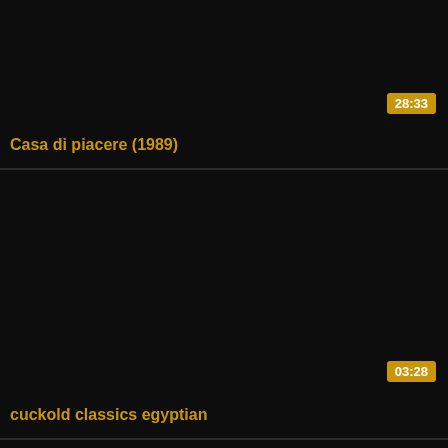[Figure (screenshot): Dark video thumbnail for 'Casa di piacere (1989)' with duration badge showing 28:33]
Casa di piacere (1989)
[Figure (screenshot): Dark video thumbnail for 'cuckold classics egyptian' with duration badge showing 03:28]
cuckold classics egyptian